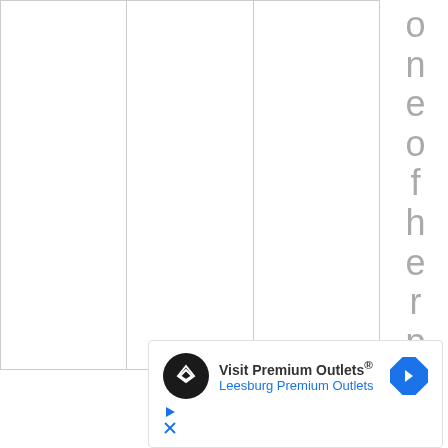|  |  |  |
|  |  |  |
|  |  |  |
o n e o f h e r p a s
[Figure (infographic): Advertisement banner: Visit Premium Outlets® Leesburg Premium Outlets, with a black circular logo featuring two overlapping diamond shapes, and a blue diamond-shaped navigation arrow icon on the right. Below the ad are play and close control icons in blue.]